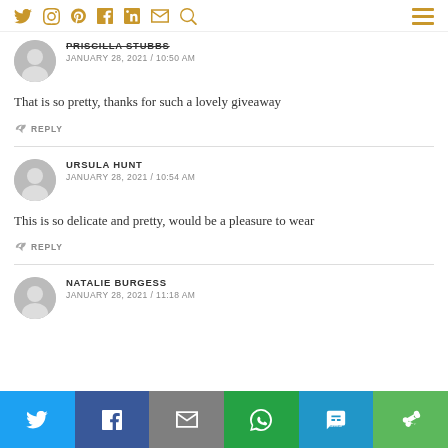Social media icon navigation bar with Twitter, Instagram, Pinterest, Facebook, LinkedIn, Email, Search icons and hamburger menu
PRISCILLA STUBBS
JANUARY 28, 2021 / 10:50 AM
That is so pretty, thanks for such a lovely giveaway
REPLY
URSULA HUNT
JANUARY 28, 2021 / 10:54 AM
This is so delicate and pretty, would be a pleasure to wear
REPLY
NATALIE BURGESS
JANUARY 28, 2021 / 11:18 AM
Share bar: Twitter, Facebook, Email, WhatsApp, SMS, More